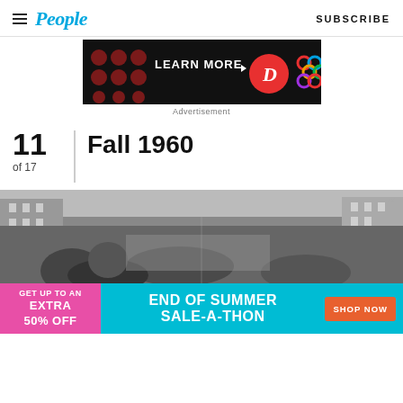People | SUBSCRIBE
[Figure (other): Advertisement banner showing 'LEARN MORE' text with a red circle D logo and colorful Olympic-style rings logo on dark background]
Advertisement
11 of 17 | Fall 1960
[Figure (photo): Black and white photograph of a crowded city street scene from fall 1960, showing people walking among tall buildings]
[Figure (other): Advertisement banner: GET UP TO AN EXTRA 50% OFF | END OF SUMMER SALE-A-THON | SHOP NOW]